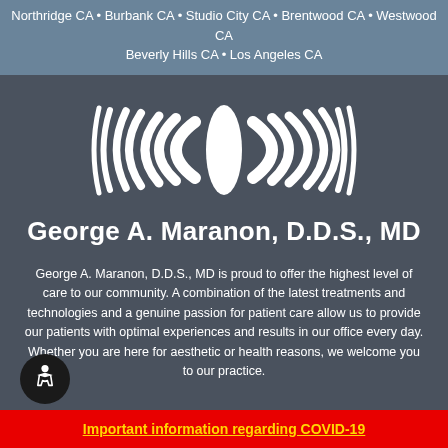Northridge CA • Burbank CA • Studio City CA • Brentwood CA • Westwood CA
Beverly Hills CA • Los Angeles CA
[Figure (logo): Sound wave / dental logo graphic with white curved vertical lines forming a wave pattern on dark gray background]
George A. Maranon, D.D.S., MD
George A. Maranon, D.D.S., MD is proud to offer the highest level of care to our community. A combination of the latest treatments and technologies and a genuine passion for patient care allow us to provide our patients with optimal experiences and results in our office every day. Whether you are here for aesthetic or health reasons, we welcome you to our practice.
Important information regarding COVID-19